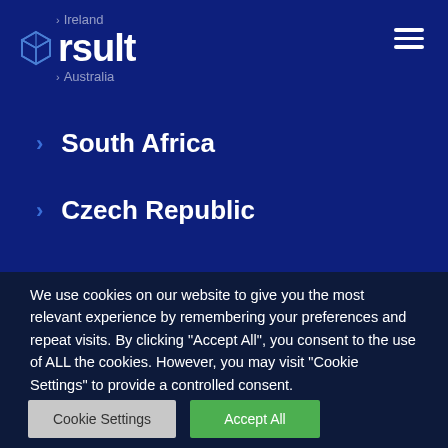[Figure (logo): rsult company logo with hexagonal cube icon, Ireland and Australia location links]
> South Africa
> Czech Republic
We use cookies on our website to give you the most relevant experience by remembering your preferences and repeat visits. By clicking "Accept All", you consent to the use of ALL the cookies. However, you may visit "Cookie Settings" to provide a controlled consent.
Cookie Settings | Accept All